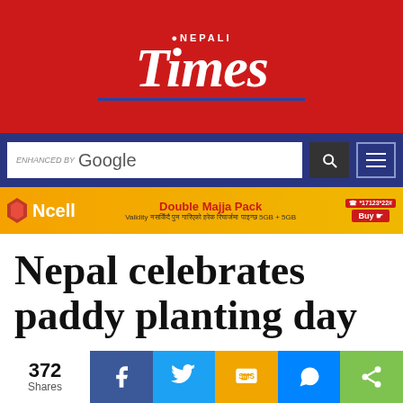[Figure (logo): Nepali Times logo on red background — white text 'NEPALI' above large serif 'Times' with blue underline]
[Figure (screenshot): Search bar with 'enhanced by Google' text and search icon button, and hamburger menu button, on dark blue background]
[Figure (screenshot): Ncell advertisement banner: Double Majja Pack, 5GB + 5GB, yellow/orange background]
Nepal celebrates paddy planting day
[Figure (infographic): Social share bar showing 372 Shares, with Facebook, Twitter, SMS, Messenger, and share buttons]